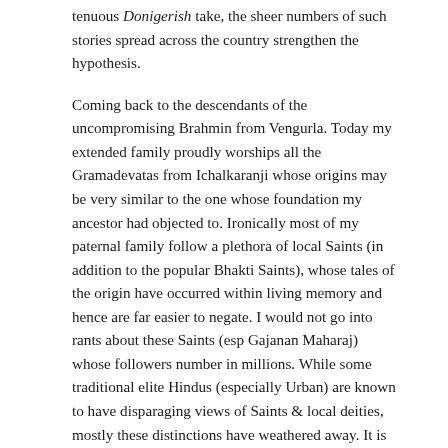tenuous Donigerish take, the sheer numbers of such stories spread across the country strengthen the hypothesis.
Coming back to the descendants of the uncompromising Brahmin from Vengurla. Today my extended family proudly worships all the Gramadevatas from Ichalkaranji whose origins may be very similar to the one whose foundation my ancestor had objected to. Ironically most of my paternal family follow a plethora of local Saints (in addition to the popular Bhakti Saints), whose tales of the origin have occurred within living memory and hence are far easier to negate. I would not go into rants about these Saints (esp Gajanan Maharaj) whose followers number in millions. While some traditional elite Hindus (especially Urban) are known to have disparaging views of Saints & local deities, mostly these distinctions have weathered away. It is not unlikely to find Hindus who fast on Mondays for Shiva also fast on Thursdays for some local Saint (who mostly claim intellectual or avatarish descent from Dattatraya).  Despite some initial friction, the Brahmanical